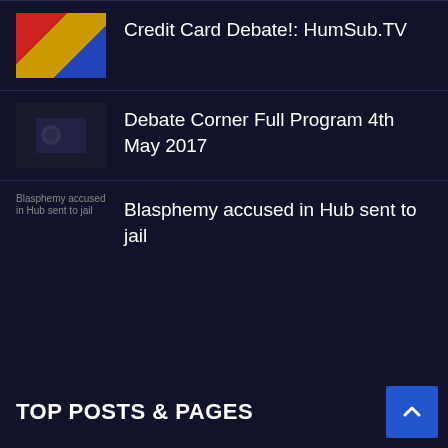Credit Card Debate!: HumSub.TV
Debate Corner Full Program 4th May 2017
Blasphemy accused in Hub sent to jail
TOP POSTS & PAGES